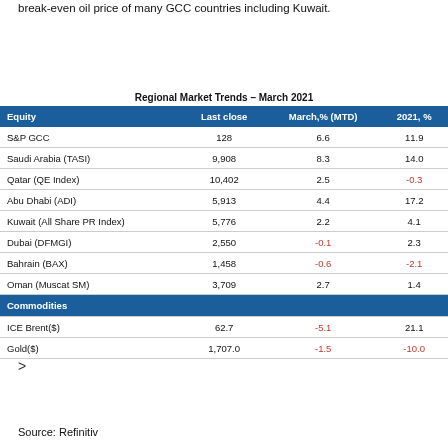break-even oil price of many GCC countries including Kuwait.
Regional Market Trends – March 2021
| Equity | Last close | March,% (MTD) | 2021, % |
| --- | --- | --- | --- |
| S&P GCC | 128 | 6.6 | 11.9 |
| Saudi Arabia (TASI) | 9,908 | 8.3 | 14.0 |
| Qatar (QE Index) | 10,402 | 2.5 | -0.3 |
| Abu Dhabi (ADI) | 5,913 | 4.4 | 17.2 |
| Kuwait (All Share PR Index) | 5,776 | 2.2 | 4.1 |
| Dubai (DFMGI) | 2,550 | -0.1 | 2.3 |
| Bahrain (BAX) | 1,458 | -0.6 | -2.1 |
| Oman (Muscat SM) | 3,709 | 2.7 | 1.4 |
| Commodities |  |  |  |
| ICE Brent($) | 62.7 | -5.1 | 21.1 |
| Gold($) | 1,707.0 | -1.5 | -10.0 |
>
Source: Refinitiv